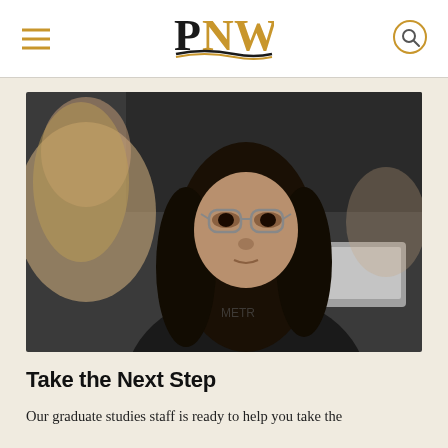PNW (Purdue University Northwest) navigation header with hamburger menu and search icon
[Figure (photo): A female student with long dark hair and glasses looking attentively, with another student visible out of focus in the foreground and a laptop in the background]
Take the Next Step
Our graduate studies staff is ready to help you take the